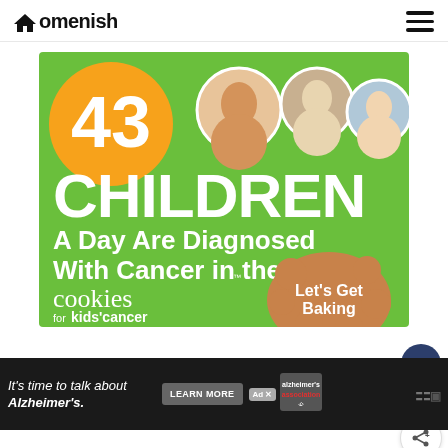Homenish
[Figure (infographic): Green background infographic: '43 CHILDREN A Day Are Diagnosed With Cancer in the U.S.' with cookies for kids' cancer branding and 'Let's Get Baking' call to action. Shows three circular photos of children at top.]
[Figure (infographic): Bottom black banner advertisement: 'It's time to talk about Alzheimer's.' with LEARN MORE button and Alzheimer's Association logo]